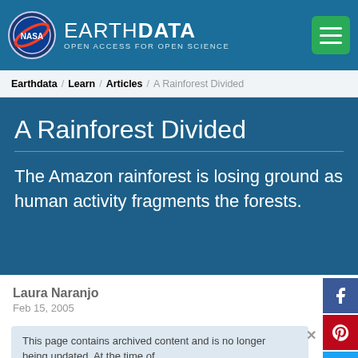NASA EARTHDATA OPEN ACCESS FOR OPEN SCIENCE
Earthdata / Learn / Articles / A Rainforest Divided
A Rainforest Divided
The Amazon rainforest is losing ground as human activity fragments the forests.
Laura Naranjo
Feb 15, 2005
This page contains archived content and is no longer being updated. At the time of